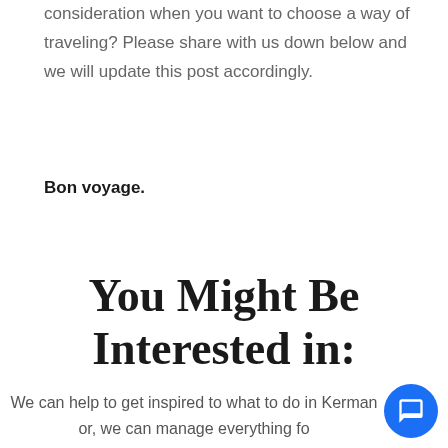consideration when you want to choose a way of traveling? Please share with us down below and we will update this post accordingly.
Bon voyage.
You Might Be Interested in:
We can help to get inspired to what to do in Kerman or, we can manage everything for